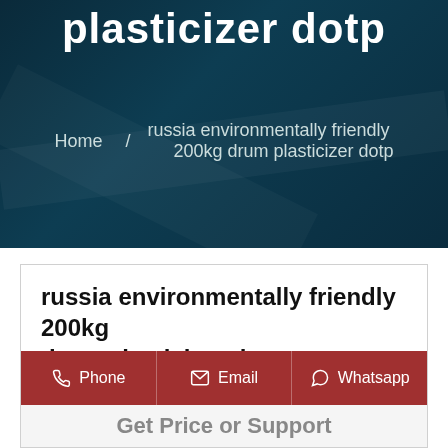plasticizer dotp
Home / russia environmentally friendly 200kg drum plasticizer dotp
russia environmentally friendly 200kg drum plasticizer dotp
Phone | Email | Whatsapp
Get Price or Support